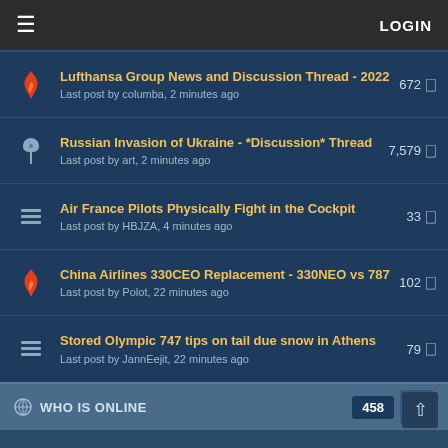LOGIN
Lufthansa Group News and Discussion Thread - 2022
Last post by columba, 2 minutes ago
672
Russian Invasion of Ukraine - *Discussion* Thread
Last post by art, 2 minutes ago
7,579
Air France Pilots Physically Fight in the Cockpit
Last post by HBJZA, 4 minutes ago
33
China Airlines 330CEO Replacement - 330NEO vs 787
Last post by Polot, 22 minutes ago
102
Stored Olympic 747 tips on tail due snow in Athens
Last post by JannEejit, 22 minutes ago
79
WHO IS ONLINE
458